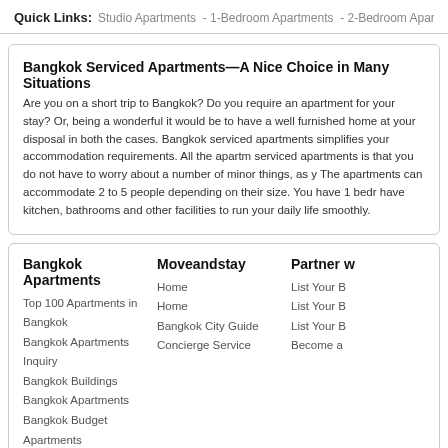Quick Links:  Studio Apartments  -  1-Bedroom Apartments  -  2-Bedroom Apartments  -  3-...
Bangkok Serviced Apartments—A Nice Choice in Many Situations
Are you on a short trip to Bangkok? Do you require an apartment for your stay? Or, being a wonderful it would be to have a well furnished home at your disposal in both the cases. Bangkok serviced apartments simplifies your accommodation requirements. All the apartm serviced apartments is that you do not have to worry about a number of minor things, as y The apartments can accommodate 2 to 5 people depending on their size. You have 1 bedr have kitchen, bathrooms and other facilities to run your daily life smoothly.
Bangkok Apartments
Top 100 Apartments in Bangkok
Bangkok Apartments Inquiry
Bangkok Buildings
Bangkok Apartments
Bangkok Budget Apartments
Moveandstay
Home
Home
Bangkok City Guide
Concierge Service
Partner w
List Your B
List Your B
List Your B
Become a
Listing 16,484 Serviced Apartments - 3,850 Furnis
About Us | Privacy | Terms of Use | Bangkok Site Map